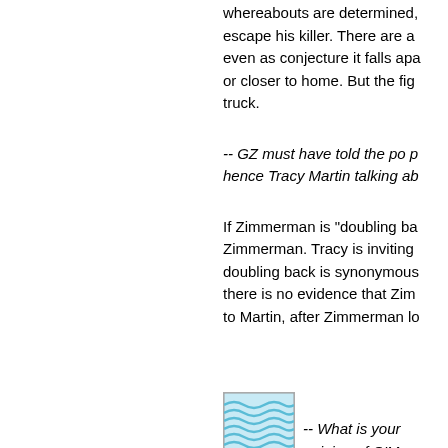whereabouts are determined, escape his killer. There are a even as conjecture it falls apa or closer to home. But the fig truck.
-- GZ must have told the po p hence Tracy Martin talking ab
If Zimmerman is "doubling ba Zimmerman. Tracy is inviting doubling back is synonymous there is no evidence that Zim to Martin, after Zimmerman lo
[Figure (illustration): Avatar/profile image with wavy blue and white pattern]
-- What is your opinion of O'M
I like him, so far. He has a lov with the loss of life but he is m Crump's criticism of the cond